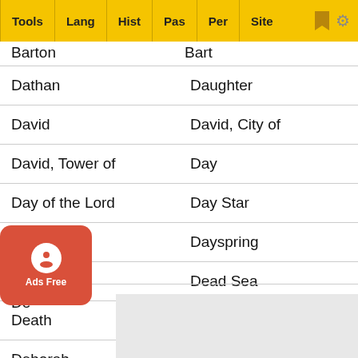Tools | Lang | Hist | Pas | Per | Site
Barton  |  Bart
Dathan  |  Daughter
David  |  David, City of
David, Tower of  |  Day
Day of the Lord  |  Day Star
Daysman  |  Dayspring
Deacon  |  Dead Sea
Death  |  Debir
Deborah  |  Decalogue
De